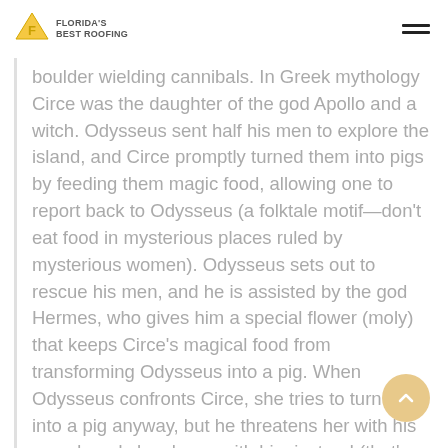Florida's Best Roofing
boulder wielding cannibals. In Greek mythology Circe was the daughter of the god Apollo and a witch. Odysseus sent half his men to explore the island, and Circe promptly turned them into pigs by feeding them magic food, allowing one to report back to Odysseus (a folktale motif—don't eat food in mysterious places ruled by mysterious women). Odysseus sets out to rescue his men, and he is assisted by the god Hermes, who gives him a special flower (moly) that keeps Circe's magical food from transforming Odysseus into a pig. When Odysseus confronts Circe, she tries to turn him into a pig anyway, but he threatens her with his sword, and she sleeps with him instead (that's definitely how that works). Circe turns the pigs back into men, and Odysseus spends a